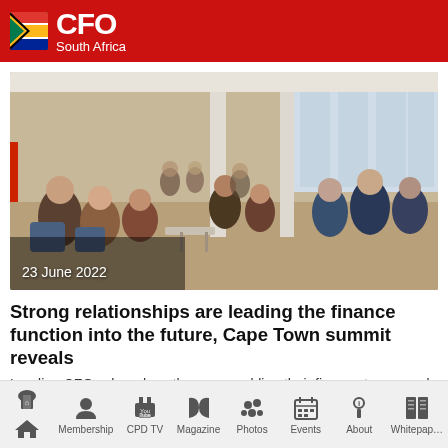CFO South Africa
[Figure (photo): Conference hall with CFOs seated and attending a summit event, taken on 23 June 2022]
Strong relationships are leading the finance function into the future, Cape Town summit reveals
Leading CFOs share how they are enabling their finance teams and readying them for the future.
Home | Membership | CPD TV | Magazine | Photos | Events | About | Whitepaper